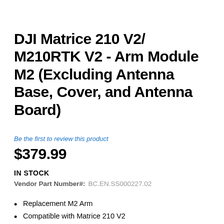DJI Matrice 210 V2/ M210RTK V2 - Arm Module M2 (Excluding Antenna Base, Cover, and Antenna Board)
Be the first to review this product
$379.99
IN STOCK
Vendor Part Number#: BC.EN.SS000227.02
Replacement M2 Arm
Compatible with Matrice 210 V2